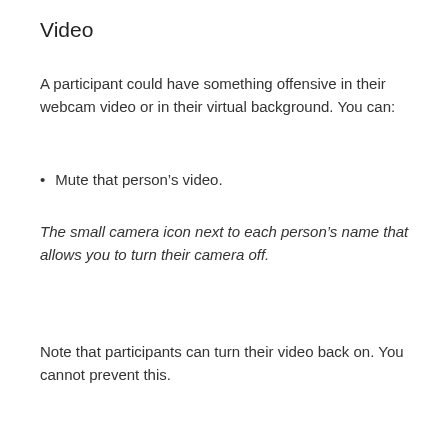Video
A participant could have something offensive in their webcam video or in their virtual background. You can:
Mute that person’s video.
The small camera icon next to each person’s name that allows you to turn their camera off.
Note that participants can turn their video back on. You cannot prevent this.